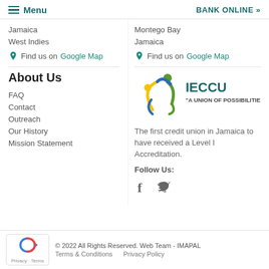≡ Menu   BANK ONLINE »
Jamaica
West Indies
Find us on Google Map
Montego Bay
Jamaica
Find us on Google Map
About Us
FAQ
Contact
Outreach
Our History
Mission Statement
[Figure (logo): IECCU logo with colorful figures and text 'A UNION OF POSSIBILITIES']
The first credit union in Jamaica to have received a Level I Accreditation.
Follow Us:
[Figure (illustration): Facebook and Twitter social media icons]
© 2022 All Rights Reserved. Web Team - IMAPAL
Terms & Conditions   Privacy Policy